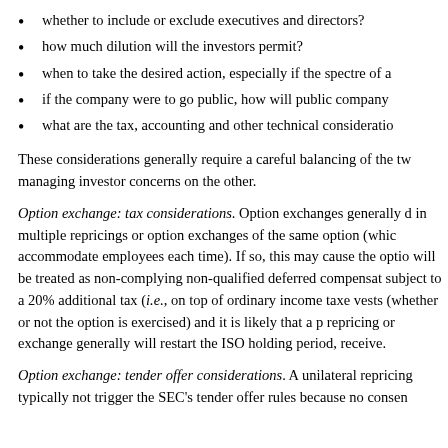whether to include or exclude executives and directors?
how much dilution will the investors permit?
when to take the desired action, especially if the spectre of a
if the company were to go public, how will public company
what are the tax, accounting and other technical consideratio
These considerations generally require a careful balancing of the tw managing investor concerns on the other.
Option exchange: tax considerations. Option exchanges generally d in multiple repricings or option exchanges of the same option (whic accommodate employees each time). If so, this may cause the optio will be treated as non-complying non-qualified deferred compensat subject to a 20% additional tax (i.e., on top of ordinary income taxe vests (whether or not the option is exercised) and it is likely that a p repricing or exchange generally will restart the ISO holding period, receive.
Option exchange: tender offer considerations. A unilateral repricing typically not trigger the SEC's tender offer rules because no consen